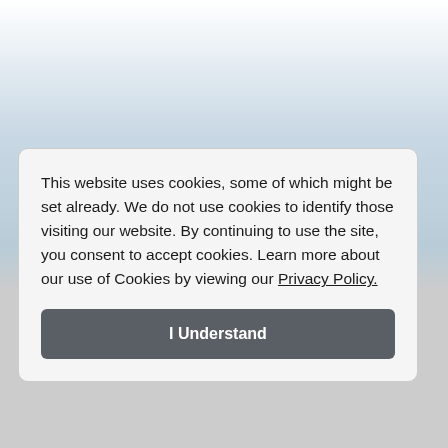This website uses cookies, some of which might be set already. We do not use cookies to identify those visiting our website. By continuing to use the site, you consent to accept cookies. Learn more about our use of Cookies by viewing our Privacy Policy.
I Understand